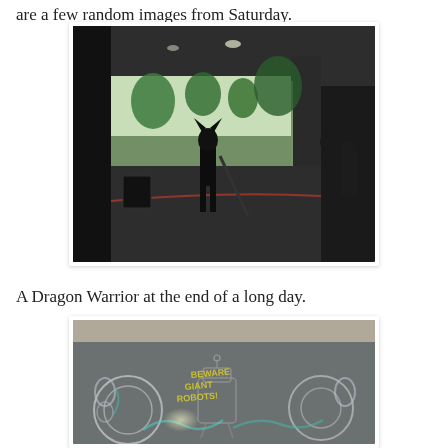are a few random images from Saturday.
[Figure (photo): A person in a dragon warrior costume standing in a covered outdoor area/driveway, with trees and parked cars visible in the background. The scene is dark under the overhang with bright daylight outside.]
A Dragon Warrior at the end of a long day.
[Figure (photo): Chalk art on pavement showing robots with the text 'BEWARE GIANT ROBOTS!' written in yellow chalk, surrounded by chalk drawings of robot figures.]